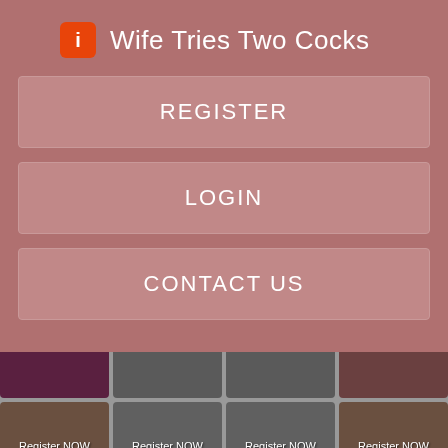Wife Tries Two Cocks
REGISTER
LOGIN
CONTACT US
[Figure (screenshot): Grid of thumbnail images with 'Register NOW for Instant Access' overlays]
Register NOW for Instant Access
Register NOW for Instant Access
Register NOW for Instant Access
Register NOW for Instant Access